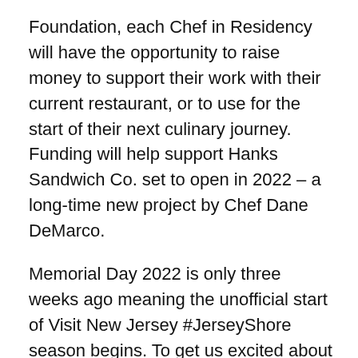Foundation, each Chef in Residency will have the opportunity to raise money to support their work with their current restaurant, or to use for the start of their next culinary journey. Funding will help support Hanks Sandwich Co. set to open in 2022 – a long-time new project by Chef Dane DeMarco.
Memorial Day 2022 is only three weeks ago meaning the unofficial start of Visit New Jersey #JerseyShore season begins. To get us excited about some places and things to do this summer season we will be joined by Pete Palladino the Director of Restaurant & Hotel Operations NJ, Fearless Restaurants. Daddy O Hotel Restaurant Welcome To LBI and Tuckers Tavern Visit Beach Haven will be open and ready to welcome everyone for a great time. Be sure to listen to what they have to offer.